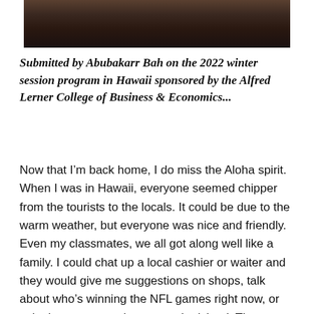[Figure (photo): Cropped photo showing a person, partially visible at top of page, with dark background.]
Submitted by Abubakarr Bah on the 2022 winter session program in Hawaii sponsored by the Alfred Lerner College of Business & Economics...
Now that I’m back home, I do miss the Aloha spirit. When I was in Hawaii, everyone seemed chipper from the tourists to the locals. It could be due to the warm weather, but everyone was nice and friendly. Even my classmates, we all got along well like a family. I could chat up a local cashier or waiter and they would give me suggestions on shops, talk about who’s winning the NFL games right now, or ask about my experiences on the island. The